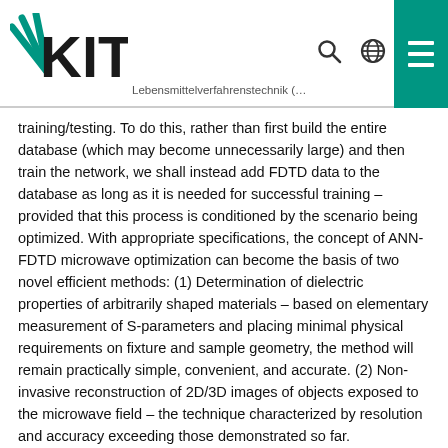KIT — Lebensmittelverfahrenstechnik (…)
training/testing. To do this, rather than first build the entire database (which may become unnecessarily large) and then train the network, we shall instead add FDTD data to the database as long as it is needed for successful training – provided that this process is conditioned by the scenario being optimized. With appropriate specifications, the concept of ANN-FDTD microwave optimization can become the basis of two novel efficient methods: (1) Determination of dielectric properties of arbitrarily shaped materials – based on elementary measurement of S‑parameters and placing minimal physical requirements on fixture and sample geometry, the method will remain practically simple, convenient, and accurate. (2) Non-invasive reconstruction of 2D/3D images of objects exposed to the microwave field – the technique characterized by resolution and accuracy exceeding those demonstrated so far.
We shall mathematically formulate the problem of control and optimization of the electric field and power dissipated in the lossy materials situated in closed cavities. Then we shall expand the formulation towards temperature, thus address a major